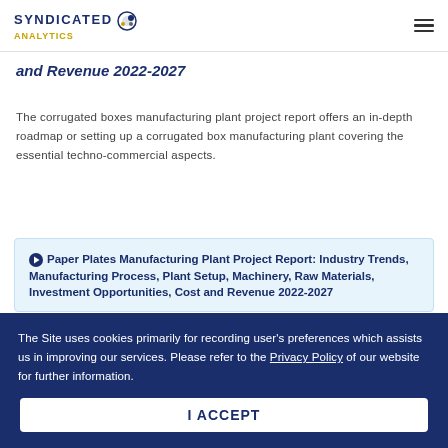SYNDICATED ANALYTICS
and Revenue 2022-2027
The corrugated boxes manufacturing plant project report offers an in-depth roadmap or setting up a corrugated box manufacturing plant covering the essential techno-commercial aspects.
Paper Plates Manufacturing Plant Project Report: Industry Trends, Manufacturing Process, Plant Setup, Machinery, Raw Materials, Investment Opportunities, Cost and Revenue 2022-2027
The Site uses cookies primarily for recording user's preferences which assists us in improving our services. Please refer to the Privacy Policy of our website for further information.
I ACCEPT